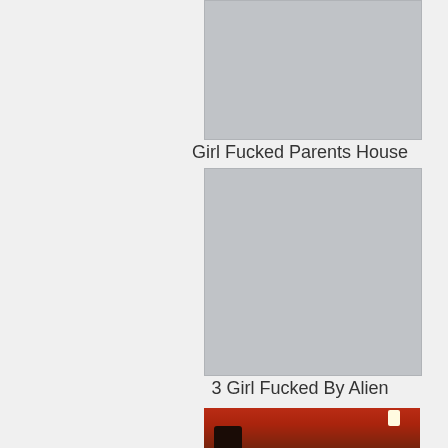[Figure (photo): Thumbnail placeholder (grey box) for first video]
Girl Fucked Parents House
[Figure (photo): Thumbnail placeholder (grey box) for second video]
3 Girl Fucked By Alien
[Figure (photo): Thumbnail image showing a dimly lit room with red glow, a person sitting, and a lamp]